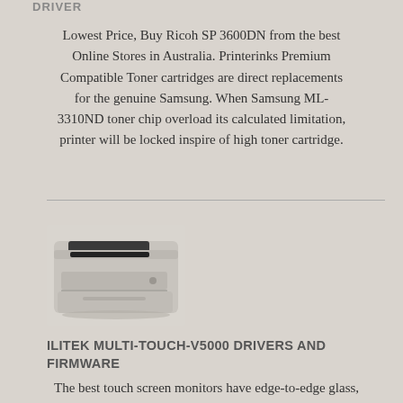DRIVER
Lowest Price, Buy Ricoh SP 3600DN from the best Online Stores in Australia. Printerinks Premium Compatible Toner cartridges are direct replacements for the genuine Samsung. When Samsung ML-3310ND toner chip overload its calculated limitation, printer will be locked inspire of high toner cartridge.
[Figure (photo): A laser printer (appears to be a Samsung or similar monochrome laser printer) shown in a light grey color, with paper tray and output tray visible.]
ILITEK MULTI-TOUCH-V5000 DRIVERS AND FIRMWARE
The best touch screen monitors have edge-to-edge glass,